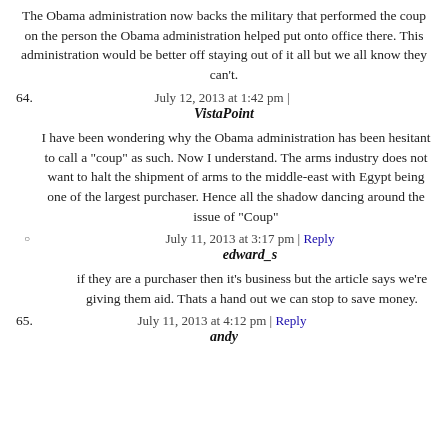The Obama administration now backs the military that performed the coup on the person the Obama administration helped put onto office there. This administration would be better off staying out of it all but we all know they can't.
July 12, 2013 at 1:42 pm |
64. VistaPoint
I have been wondering why the Obama administration has been hesitant to call a "coup" as such. Now I understand. The arms industry does not want to halt the shipment of arms to the middle-east with Egypt being one of the largest purchaser. Hence all the shadow dancing around the issue of "Coup"
July 11, 2013 at 3:17 pm | Reply
edward_s
if they are a purchaser then it's business but the article says we're giving them aid. Thats a hand out we can stop to save money.
July 11, 2013 at 4:12 pm | Reply
65. andy